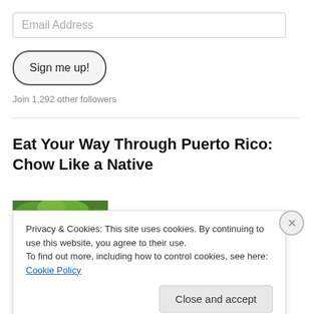Email Address
Sign me up!
Join 1,292 other followers
Eat Your Way Through Puerto Rico: Chow Like a Native
[Figure (illustration): Book cover showing 'Eat Your Way Through Puerto Rico' with green and yellow fruit background and bold 'PUERTO' text in orange/yellow]
Privacy & Cookies: This site uses cookies. By continuing to use this website, you agree to their use.
To find out more, including how to control cookies, see here: Cookie Policy
Close and accept